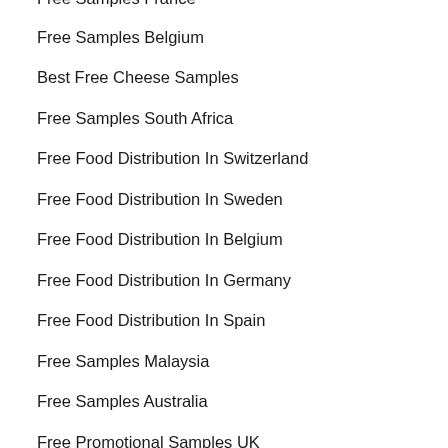Free Samples France
Free Samples Belgium
Best Free Cheese Samples
Free Samples South Africa
Free Food Distribution In Switzerland
Free Food Distribution In Sweden
Free Food Distribution In Belgium
Free Food Distribution In Germany
Free Food Distribution In Spain
Free Samples Malaysia
Free Samples Australia
Free Promotional Samples UK
Free Promotional Samples Canada
Free Promotional Samples USA